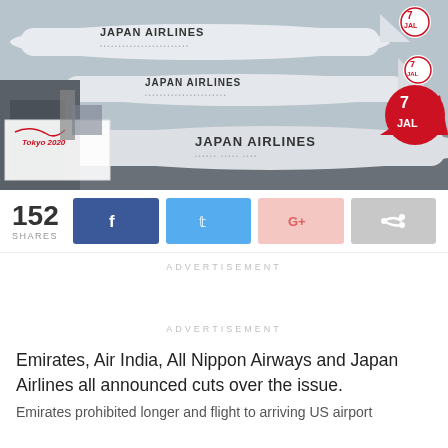[Figure (photo): Multiple Japan Airlines planes parked at an airport gate, with Tokyo 2020 Olympic branding visible on ground equipment. The JAL crane logo is visible on the tail of a large aircraft in the foreground.]
152 SHARES
[Figure (infographic): Social sharing buttons: Facebook (dark blue), Twitter (light blue), Google+ (pink/light red), and a generic share button (gray).]
ADVERTISEMENT
ADVERTISEMENT
Emirates, Air India, All Nippon Airways and Japan Airlines all announced cuts over the issue.
Emirates prohibited longer and flight to arriving US airport